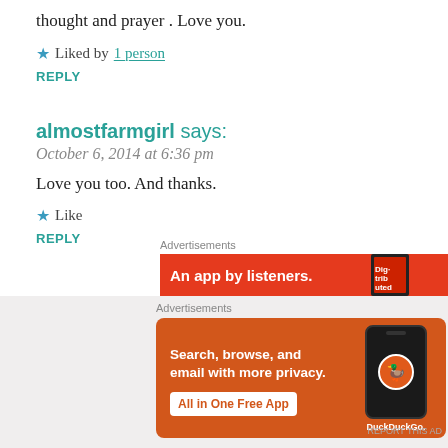thought and prayer . Love you.
★ Liked by 1 person
REPLY
almostfarmgirl says:
October 6, 2014 at 6:36 pm
Love you too. And thanks.
★ Like
REPLY
[Figure (screenshot): Advertisement banner: red background with text 'An app by listeners.' and a magazine graphic]
[Figure (screenshot): DuckDuckGo advertisement: orange-red background with text 'Search, browse, and email with more privacy. All in One Free App' with phone image and DuckDuckGo logo]